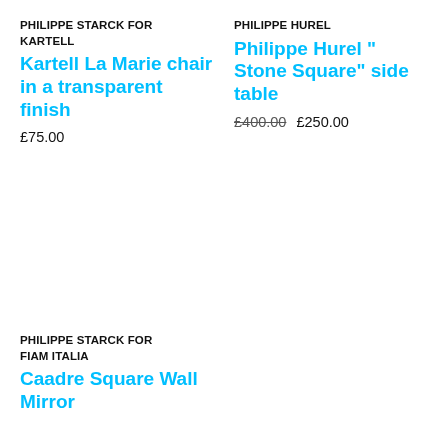PHILIPPE STARCK FOR KARTELL
Kartell La Marie chair in a transparent finish
£75.00
PHILIPPE HUREL
Philippe Hurel " Stone Square" side table
£400.00  £250.00
PHILIPPE STARCK FOR FIAM ITALIA
Caadre Square Wall Mirror